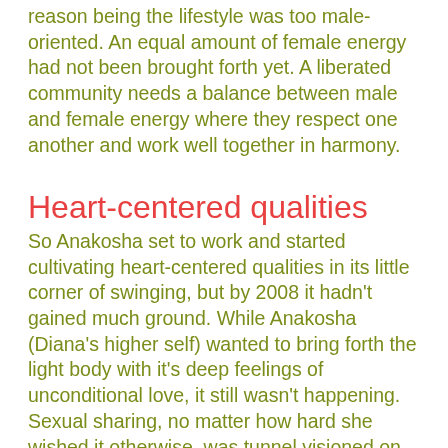reason being the lifestyle was too male-oriented. An equal amount of female energy had not been brought forth yet. A liberated community needs a balance between male and female energy where they respect one another and work well together in harmony.
Heart-centered qualities
So Anakosha set to work and started cultivating heart-centered qualities in its little corner of swinging, but by 2008 it hadn't gained much ground. While Anakosha (Diana's higher self) wanted to bring forth the light body with it's deep feelings of unconditional love, it still wasn't happening. Sexual sharing, no matter how hard she wished it otherwise, was tunnel visioned on sex the male way. It wasn't about love, but about genital sex and Diana didn't know how to change